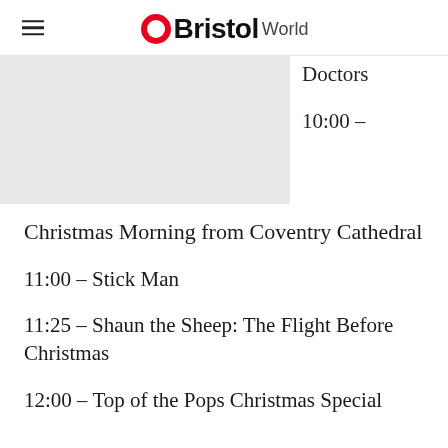Bristol World
[Figure (photo): Partial image placeholder on left side with text 'Doctors' and '10:00 –' on right side]
Christmas Morning from Coventry Cathedral
11:00 – Stick Man
11:25 – Shaun the Sheep: The Flight Before Christmas
12:00 – Top of the Pops Christmas Special